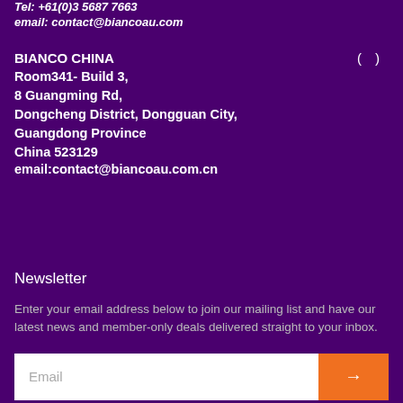Tel: +61(0)3 5687 7663
email: contact@biancoau.com
BIANCO CHINA
Room341- Build 3,
8 Guangming Rd,
Dongcheng District, Dongguan City,
Guangdong Province
China 523129
email:contact@biancoau.com.cn
Newsletter
Enter your email address below to join our mailing list and have our latest news and member-only deals delivered straight to your inbox.
Email →